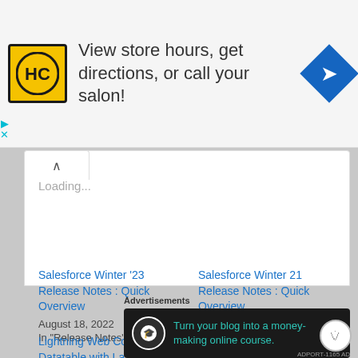[Figure (infographic): Top advertisement banner with HC hair salon logo (yellow/black circle), text 'View store hours, get directions, or call your salon!', and a blue navigation diamond icon on the right.]
Loading...
Salesforce Winter '23 Release Notes : Quick Overview
August 18, 2022
In "Release Notes"
Salesforce Winter 21 Release Notes : Quick Overview
August 25, 2020
In "Release Notes"
Lightning Web Components: Datatable with Lazy loading, Inline
[Figure (infographic): Bottom advertisement banner with dark background, Teachable logo (person with graduation cap), text 'Turn your blog into a money-making online course.' in teal, and a white arrow button.]
Advertisements